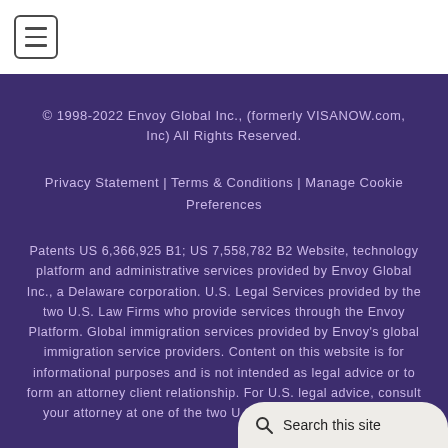[Figure (other): Hamburger menu icon button in top-left corner of white header bar]
© 1998-2022 Envoy Global Inc., (formerly VISANOW.com, Inc) All Rights Reserved.
Privacy Statement | Terms & Conditions | Manage Cookie Preferences
Patents US 6,366,925 B1; US 7,558,782 B2 Website, technology platform and administrative services provided by Envoy Global Inc., a Delaware corporation. U.S. Legal Services provided by the two U.S. Law Firms who provide services through the Envoy Platform. Global immigration services provided by Envoy's global immigration service providers. Content on this website is for informational purposes and is not intended as legal advice or to form an attorney client relationship. For U.S. legal advice, consult your attorney at one of the two U.S. Law Firms if you have any legal questions with respect of...
Search this site